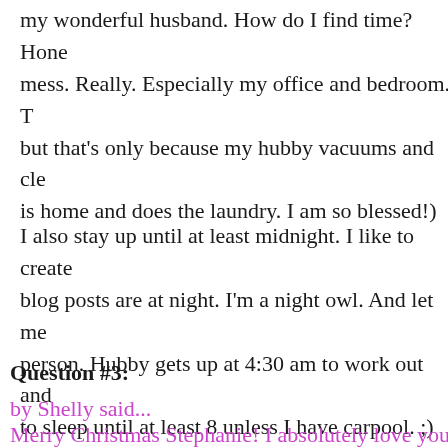my wonderful husband. How do I find time? Hone mess. Really. Especially my office and bedroom. T but that's only because my hubby vacuums and cle is home and does the laundry. I am so blessed!)
I also stay up until at least midnight. I like to create blog posts are at night. I'm a night owl. And let me person. Hubby gets up at 4:30 am to work out and to sleep until at least 8 unless I have carpool. ;)
Question #3:
by Shelly said...
Merry Christmas Stephanie! I absolutely love your them I get totally inspired. My question is, If you k